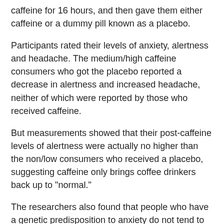caffeine for 16 hours, and then gave them either caffeine or a dummy pill known as a placebo.
Participants rated their levels of anxiety, alertness and headache. The medium/high caffeine consumers who got the placebo reported a decrease in alertness and increased headache, neither of which were reported by those who received caffeine.
But measurements showed that their post-caffeine levels of alertness were actually no higher than the non/low consumers who received a placebo, suggesting caffeine only brings coffee drinkers back up to "normal."
The researchers also found that people who have a genetic predisposition to anxiety do not tend to avoid coffee.
In fact, people in the study with a gene variant associated with anxiety tended to consume